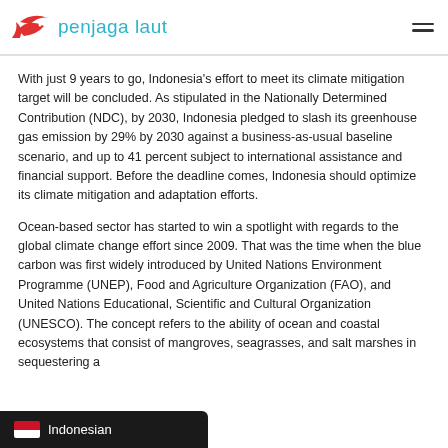penjaga laut
With just 9 years to go, Indonesia's effort to meet its climate mitigation target will be concluded. As stipulated in the Nationally Determined Contribution (NDC), by 2030, Indonesia pledged to slash its greenhouse gas emission by 29% by 2030 against a business-as-usual baseline scenario, and up to 41 percent subject to international assistance and financial support. Before the deadline comes, Indonesia should optimize its climate mitigation and adaptation efforts.
Ocean-based sector has started to win a spotlight with regards to the global climate change effort since 2009. That was the time when the blue carbon was first widely introduced by United Nations Environment Programme (UNEP), Food and Agriculture Organization (FAO), and United Nations Educational, Scientific and Cultural Organization (UNESCO). The concept refers to the ability of ocean and coastal ecosystems that consist of mangroves, seagrasses, and salt marshes in sequestering a...